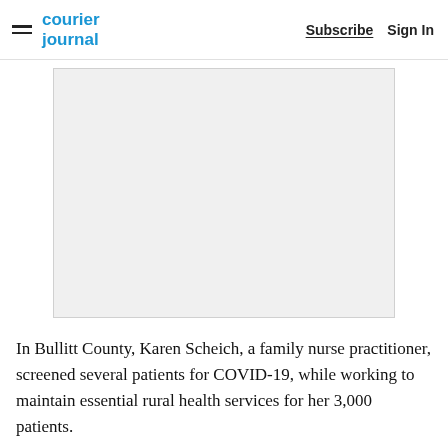courier journal | Subscribe  Sign In
[Figure (other): Advertisement placeholder rectangle with light gray background]
In Bullitt County, Karen Scheich, a family nurse practitioner, screened several patients for COVID-19, while working to maintain essential rural health services for her 3,000 patients.
In Western Kentucky, Anessa Holman, a